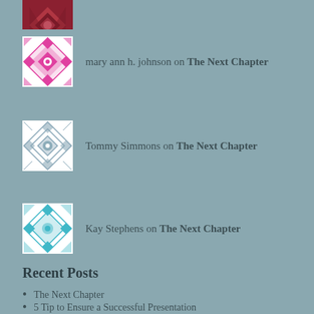[Figure (illustration): Partially visible dark red/maroon patterned avatar tile at top]
mary ann h. johnson on The Next Chapter
Tommy Simmons on The Next Chapter
Kay Stephens on The Next Chapter
Recent Posts
The Next Chapter
5 Tip to Ensure a Successful Presentation
Rabbit Holes and Notebooks Spark Joy
Back To School Is the Perfect Time To Organize
Are You Up for Nothing?